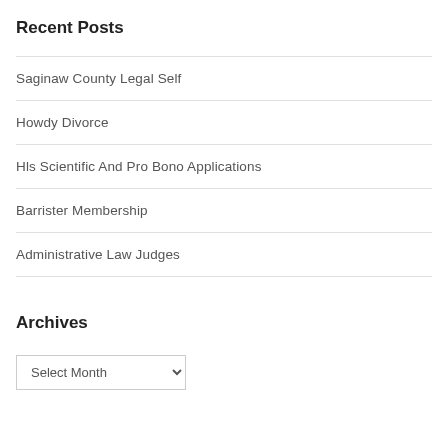Recent Posts
Saginaw County Legal Self
Howdy Divorce
Hls Scientific And Pro Bono Applications
Barrister Membership
Administrative Law Judges
Archives
Select Month